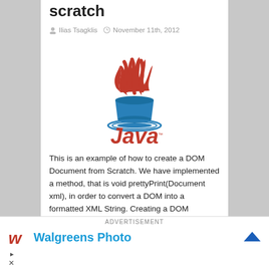scratch
Ilias Tsagklis   November 11th, 2012
[Figure (logo): Java programming language logo with red steam/flames above a blue coffee cup and 'Java' text in red italic font]
This is an example of how to create a DOM Document from Scratch. We have implemented a method, that is void prettyPrint(Document xml), in order to convert a DOM into a formatted XML String. Creating a DOM Document from Scratch implies that you should: Create an new Document, using newDocument() API method of
ADVERTISEMENT
Walgreens Photo